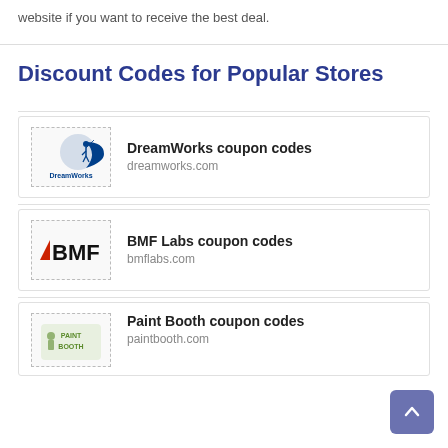website if you want to receive the best deal.
Discount Codes for Popular Stores
[Figure (logo): DreamWorks logo with boy on moon]
DreamWorks coupon codes
dreamworks.com
[Figure (logo): BMF Labs logo with red arrow and bold BMF text]
BMF Labs coupon codes
bmflabs.com
[Figure (logo): Paint Booth logo]
Paint Booth coupon codes
paintbooth.com